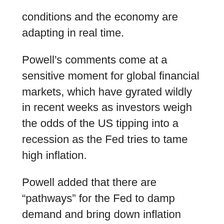conditions and the economy are adapting in real time.
Powell’s comments come at a sensitive moment for global financial markets, which have gyrated wildly in recent weeks as investors weigh the odds of the US tipping into a recession as the Fed tries to tame high inflation.
Powell added that there are “pathways” for the Fed to damp demand and bring down inflation without substantial labour market losses, although he said the unemployment rate may rise “a few ticks” from its very low 3.6 per cent level today.
That would constitute a “soft or softish landing”, he said, although he acknowledged significant challenges to achieving that — including the run-up